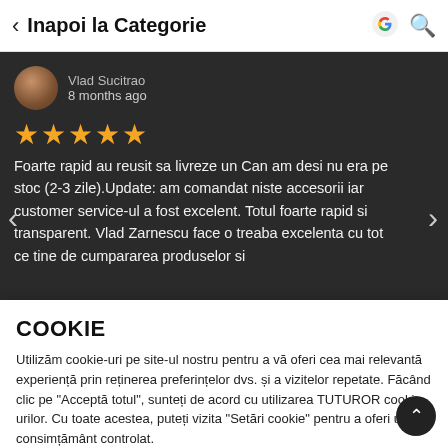Inapoi la Categorie
[Figure (screenshot): User review card on dark background. Shows avatar, name 'Vlad Sucitrao', '8 months ago', 5 orange stars, and review text in Romanian.]
Foarte rapid au reusit sa livreze un Can am desi nu era pe stoc (2-3 zile).Update: am comandat niste accesorii iar customer service-ul a fost excelent. Totul foarte rapid si transparent. Vlad Zarnescu face o treaba excelenta cu tot ce tine de cumpararea produselor si
COOKIE
Utilizăm cookie-uri pe site-ul nostru pentru a vă oferi cea mai relevantă experiență prin reținerea preferințelor dvs. și a vizitelor repetate. Făcând clic pe "Acceptă totul", sunteți de acord cu utilizarea TUTUROR cookie-urilor. Cu toate acestea, puteți vizita "Setări cookie" pentru a oferi un consimțământ controlat.
Setari Cookie
Accept, inchide fereastra